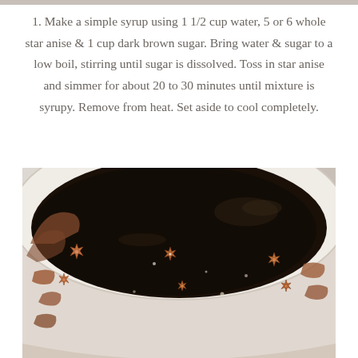1. Make a simple syrup using 1 1/2 cup water, 5 or 6 whole star anise & 1 cup dark brown sugar. Bring water & sugar to a low boil, stirring until sugar is dissolved. Toss in star anise and simmer for about 20 to 30 minutes until mixture is syrupy. Remove from heat. Set aside to cool completely.
[Figure (photo): A white bowl or pot viewed from above containing dark brown syrup with whole star anise floating on the surface, showing a dark liquid with reddish-brown spices]